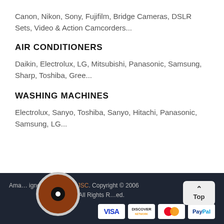Canon, Nikon, Sony, Fujifilm, Bridge Cameras, DSLR Sets, Video & Action Camcorders...
AIR CONDITIONERS
Daikin, Electrolux, LG, Mitsubishi, Panasonic, Samsung, Sharp, Toshiba, Gree...
WASHING MACHINES
Electrolux, Sanyo, Toshiba, Sanyo, Hitachi, Panasonic, Samsung, LG...
Amaz... designed by Netbase JSC. Copyright © 2006 All Rights Reserved.